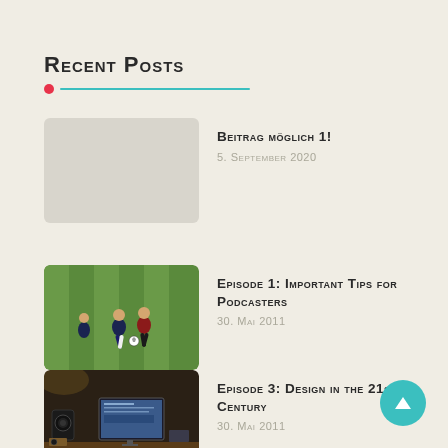Recent Posts
Beitrag möglich 1! | 5. September 2020
Episode 1: Important Tips for Podcasters | 30. Mai 2011
Episode 3: Design in the 21st Century | 30. Mai 2011